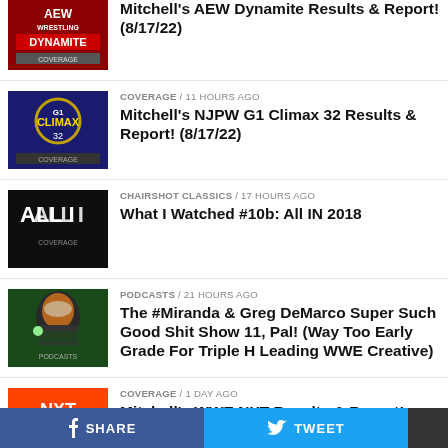Mitchell's AEW Dynamite Results & Report! (8/17/22)
COVERAGE / 11 hours ago — Mitchell's NJPW G1 Climax 32 Results & Report! (8/17/22)
CHAIRSHOT CLASSICS / 17 hours ago — What I Watched #10b: All IN 2018
PODCASTS / 21 hours ago — The #Miranda & Greg DeMarco Super Such Good Shit Show 11, Pal! (Way Too Early Grade For Triple H Leading WWE Creative)
COVERAGE / 1 day ago — Mitchell's WWE NXT Results & Report! (8/16/22)
SHARE   TWEET